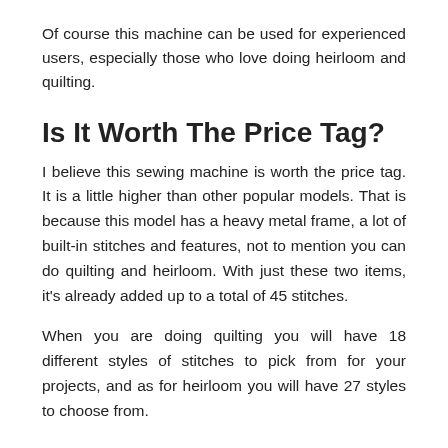Of course this machine can be used for experienced users, especially those who love doing heirloom and quilting.
Is It Worth The Price Tag?
I believe this sewing machine is worth the price tag. It is a little higher than other popular models. That is because this model has a heavy metal frame, a lot of built-in stitches and features, not to mention you can do quilting and heirloom. With just these two items, it's already added up to a total of 45 stitches.
When you are doing quilting you will have 18 different styles of stitches to pick from for your projects, and as for heirloom you will have 27 styles to choose from.